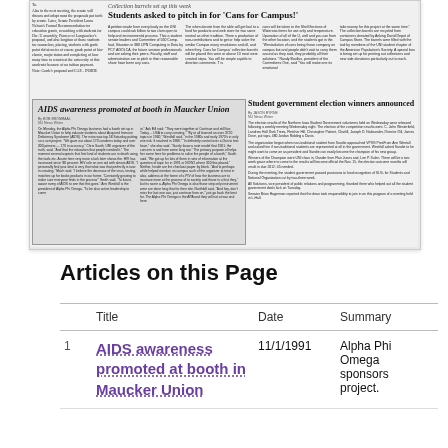[Figure (screenshot): Newspaper page image showing articles including 'Students asked to pitch in for Cans for Campus!', 'AIDS awareness promoted at booth in Maucker Union', and 'Student government election winners announced']
Articles on this Page
|  | Title | Date | Summary |
| --- | --- | --- | --- |
| 1 | AIDS awareness promoted at booth in Maucker Union | 11/1/1991 | Alpha Phi Omega sponsors project. |